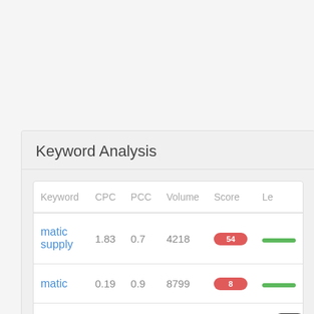Keyword Analysis
| Keyword | CPC | PCC | Volume | Score | Le |
| --- | --- | --- | --- | --- | --- |
| matic supply | 1.83 | 0.7 | 4218 | 54 |  |
| matic | 0.19 | 0.9 | 8799 | 8 |  |
| supply | 1.03 | 0.7 | 5698 | 44 |  |